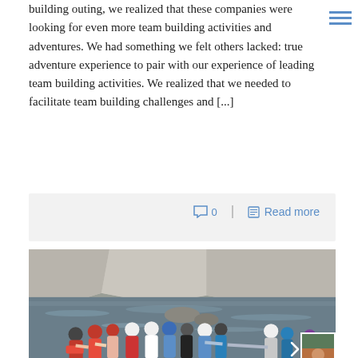building outing, we realized that these companies were looking for even more team building activities and adventures. We had something we felt others lacked: true adventure experience to pair with our experience of leading team building activities. We realized that we needed to facilitate team building challenges and [...]
0  Read more
[Figure (photo): Group of people wearing helmets and life vests standing in a rocky river, with tall rock cliffs in the background. The group appears to be on a whitewater rafting or team building adventure activity.]